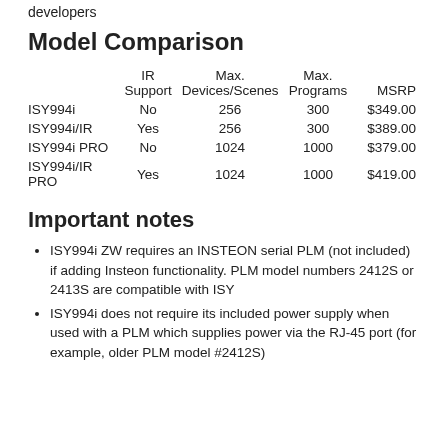developers
Model Comparison
|  | IR Support | Max. Devices/Scenes | Max. Programs | MSRP |
| --- | --- | --- | --- | --- |
| ISY994i | No | 256 | 300 | $349.00 |
| ISY994i/IR | Yes | 256 | 300 | $389.00 |
| ISY994i PRO | No | 1024 | 1000 | $379.00 |
| ISY994i/IR PRO | Yes | 1024 | 1000 | $419.00 |
Important notes
ISY994i ZW requires an INSTEON serial PLM (not included) if adding Insteon functionality. PLM model numbers 2412S or 2413S are compatible with ISY
ISY994i does not require its included power supply when used with a PLM which supplies power via the RJ-45 port (for example, older PLM model #2412S)